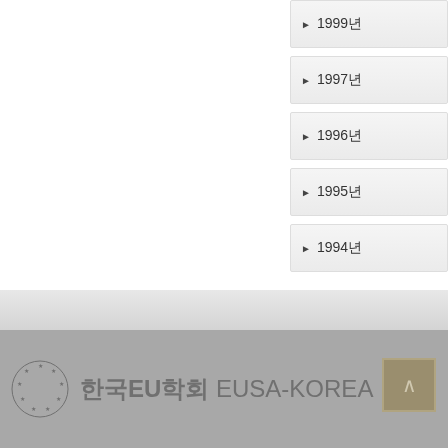▶ 1999년
▶ 1997년
▶ 1996년
▶ 1995년
▶ 1994년
한국EU학회 EUSA-KOREA